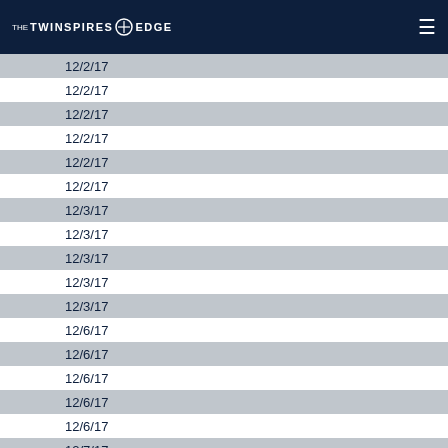THE TWINSPIRES EDGE
| Date |
| --- |
| 12/2/17 |
| 12/2/17 |
| 12/2/17 |
| 12/2/17 |
| 12/2/17 |
| 12/2/17 |
| 12/3/17 |
| 12/3/17 |
| 12/3/17 |
| 12/3/17 |
| 12/3/17 |
| 12/6/17 |
| 12/6/17 |
| 12/6/17 |
| 12/6/17 |
| 12/6/17 |
| 12/7/17 |
| 12/7/17 |
| 12/7/17 |
| 12/7/17 |
| 12/7/17 |